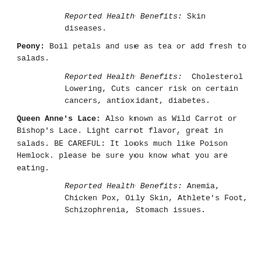Reported Health Benefits: Skin diseases.
Peony: Boil petals and use as tea or add fresh to salads.
Reported Health Benefits: Cholesterol Lowering, Cuts cancer risk on certain cancers, antioxidant, diabetes.
Queen Anne's Lace: Also known as Wild Carrot or Bishop's Lace. Light carrot flavor, great in salads. BE CAREFUL: It looks much like Poison Hemlock. please be sure you know what you are eating.
Reported Health Benefits: Anemia, Chicken Pox, Oily Skin, Athlete's Foot, Schizophrenia, Stomach issues.